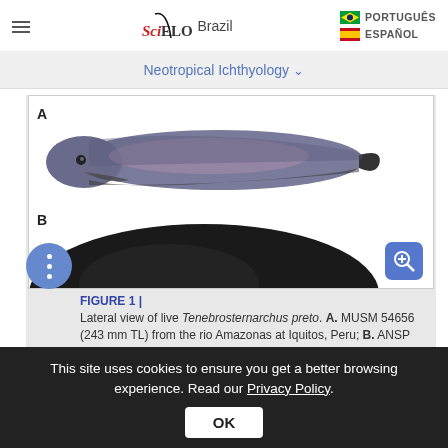SciELO Brazil | PORTUGUÊS | ESPAÑOL
Neotropical Ichthyology ∨
[Figure (photo): Photograph of fish specimens. Panel A shows a lateral view of a live Tenebrosternarchus preto fish specimen. Panel B shows the beginning of another specimen view (partially visible).]
FIGURE 1 | Lateral view of live Tenebrosternarchus preto. A. MUSM 54656 (243 mm TL) from the rio Amazonas at Iquitos, Peru; B. ANSP 207797 (232 mm TL) from the rio Negro downstream from Barcelos, Brazil and C.
This site uses cookies to ensure you get a better browsing experience. Read our Privacy Policy.